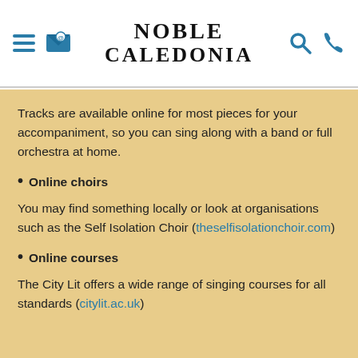Noble Caledonia
Tracks are available online for most pieces for your accompaniment, so you can sing along with a band or full orchestra at home.
Online choirs
You may find something locally or look at organisations such as the Self Isolation Choir (theselfisolationchoir.com)
Online courses
The City Lit offers a wide range of singing courses for all standards (citylit.ac.uk)